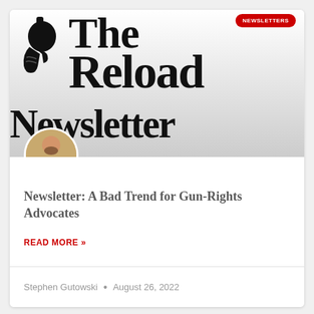[Figure (logo): The Reload Newsletter banner with gun icon, gradient background, and large serif text reading 'The Reload Newsletter'. A red NEWSLETTERS badge is in the top right corner.]
[Figure (photo): Circular avatar photo of Stephen Gutowski, a bearded man in a suit and tie, overlapping the bottom of the banner.]
Newsletter: A Bad Trend for Gun-Rights Advocates
READ MORE »
Stephen Gutowski • August 26, 2022